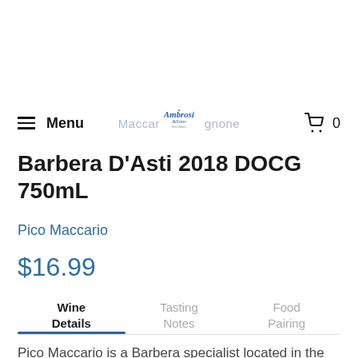Menu | Pico Maccario Barbera d'Asti Bargione | Ambrosi & Sons | Cart 0
Barbera D'Asti 2018 DOCG 750mL
Pico Maccario
$16.99
Wine Details | Tasting Notes | Food Pairing
Pico Maccario is a Barbera specialist located in the town of Mombaruzzo in the heart of Piedmont's Barbera d'Asti DOCG.